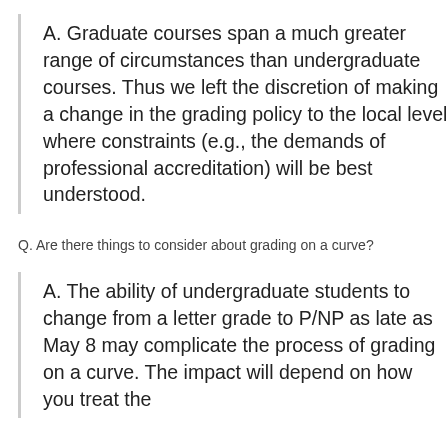A. Graduate courses span a much greater range of circumstances than undergraduate courses. Thus we left the discretion of making a change in the grading policy to the local level where constraints (e.g., the demands of professional accreditation) will be best understood.
Q. Are there things to consider about grading on a curve?
A. The ability of undergraduate students to change from a letter grade to P/NP as late as May 8 may complicate the process of grading on a curve. The impact will depend on how you treat the